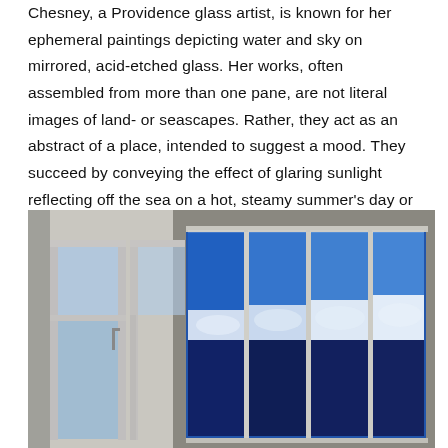Chesney, a Providence glass artist, is known for her ephemeral paintings depicting water and sky on mirrored, acid-etched glass. Her works, often assembled from more than one pane, are not literal images of land- or seascapes. Rather, they act as an abstract of a place, intended to suggest a mood. They succeed by conveying the effect of glaring sunlight reflecting off the sea on a hot, steamy summer's day or suggesting the solid nothingness of dense, wool-like fog hanging heavy in the air.
[Figure (photo): Interior photograph showing large glass panel artwork installed behind glass entry doors. The artwork consists of multiple tall rectangular panes displaying vivid blue sky and white cloud imagery on mirrored glass, mounted in a light-colored wall with metal framing. Glass entry doors with metal frames are visible in the foreground.]